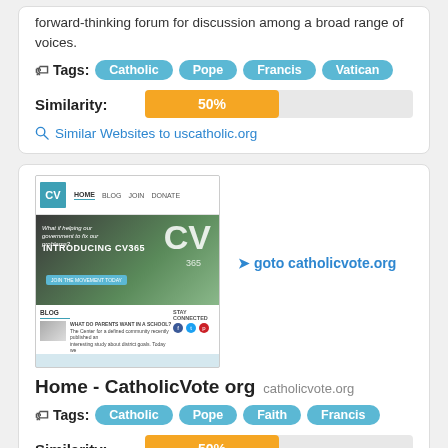forward-thinking forum for discussion among a broad range of voices.
Tags: Catholic Pope Francis Vatican
[Figure (infographic): Similarity progress bar showing 50% in orange]
Similar Websites to uscatholic.org
[Figure (screenshot): Screenshot of catholicvote.org website showing CV logo, navigation (Home, Blog, Join, Donate), hero image with CV365 branding, and blog section]
goto catholicvote.org
Home - CatholicVote org catholicvote.org
Tags: Catholic Pope Faith Francis
[Figure (infographic): Similarity progress bar showing 50% in orange]
Similar Websites to catholicvote.org